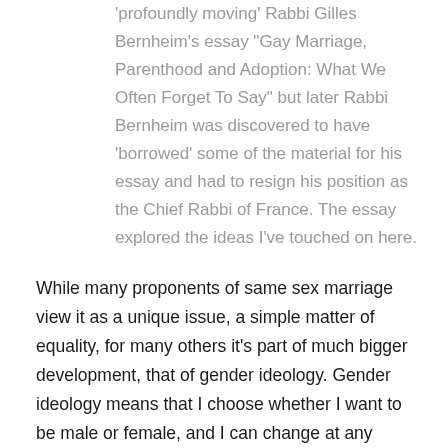'profoundly moving' Rabbi Gilles Bernheim's essay "Gay Marriage, Parenthood and Adoption: What We Often Forget To Say" but later Rabbi Bernheim was discovered to have 'borrowed' some of the material for his essay and had to resign his position as the Chief Rabbi of France. The essay explored the ideas I've touched on here.
While many proponents of same sex marriage view it as a unique issue, a simple matter of equality, for many others it's part of much bigger development, that of gender ideology. Gender ideology means that I choose whether I want to be male or female, and I can change at any future point if I so choose. There are no givens anymore. Male